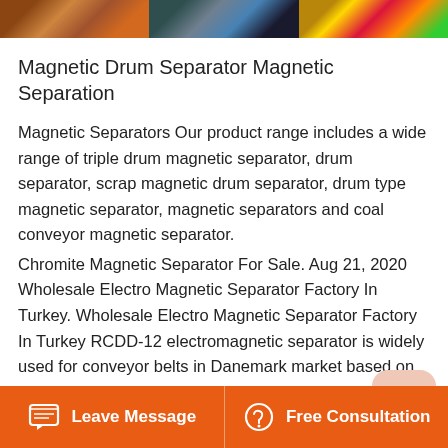[Figure (photo): Three industrial images side by side showing magnetic separation machinery and colorful wires/cables]
Magnetic Drum Separator Magnetic Separation
Magnetic Separators Our product range includes a wide range of triple drum magnetic separator, drum separator, scrap magnetic drum separator, drum type magnetic separator, magnetic separators and coal conveyor magnetic separator.
Chromite Magnetic Separator For Sale. Aug 21, 2020 Wholesale Electro Magnetic Separator Factory In Turkey. Wholesale Electro Magnetic Separator Factory In Turkey RCDD-12 electromagnetic separator is widely used for conveyor belts in Danemark market based on cheap price and stable operation.Control cabinet is explosion-proof type in accordance with international standards.
Leave Message   Free Consultation